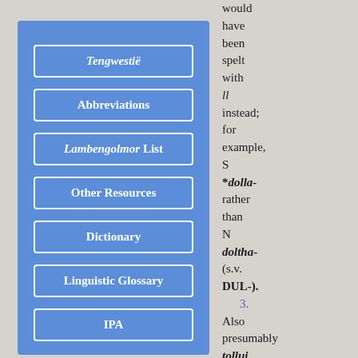[Figure (screenshot): Blue navigation panel with menu buttons: Tengwestië (italic), Abbreviations, Lambengolmor List (Lambengolmor italic), Other Resources, Dictionary, Linguistic Glossary, IPA, and a PDF icon at the bottom]
would have been spelt with ll instead; for example, S *dolla- rather than N doltha- (s.v. DUL-). 3. Also presumably tollui, the unqualifiedly